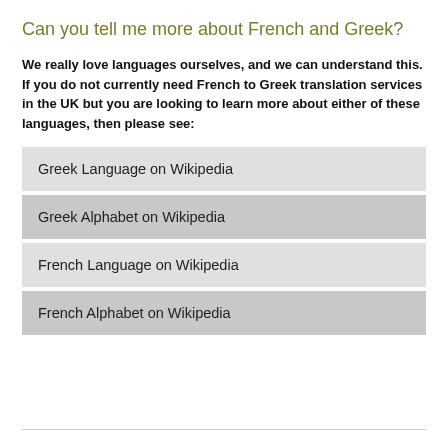Can you tell me more about French and Greek?
We really love languages ourselves, and we can understand this. If you do not currently need French to Greek translation services in the UK but you are looking to learn more about either of these languages, then please see:
Greek Language on Wikipedia
Greek Alphabet on Wikipedia
French Language on Wikipedia
French Alphabet on Wikipedia